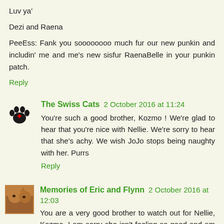Luv ya'
Dezi and Raena
PeeEss: Fank you soooooooo much fur our new punkin and includin' me and me's new sisfur RaenaBelle in your punkin patch.
Reply
The Swiss Cats 2 October 2016 at 11:24
You're such a good brother, Kozmo ! We're glad to hear that you're nice with Nellie. We're sorry to hear that she's achy. We wish JoJo stops being naughty with her. Purrs
Reply
Memories of Eric and Flynn 2 October 2016 at 12:03
You are a very good brother to watch out for Nellie, Kozmo. I am sorry she isn't feeling so good and am purring for her.